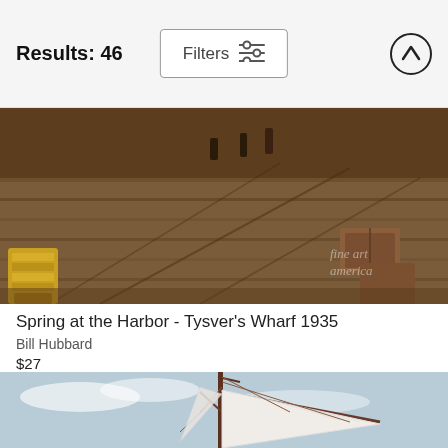Results: 46
Filters
[Figure (photo): Oil painting of a harbor wharf scene from 1935, showing wooden dock with yellow objects on the left and brown earthen tones, workers and crates visible, with Fine Art America watermark in bottom right corner.]
Spring at the Harbor - Tysver's Wharf 1935
Bill Hubbard
$27
[Figure (photo): Oil painting of a sailboat with tall white sails and rigging against a light blue sky with wispy clouds, seen from close up looking up at the mast and sails.]